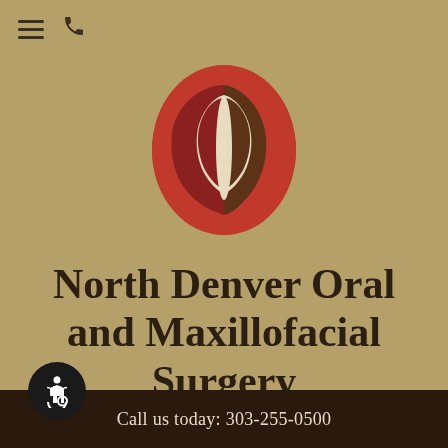[Figure (logo): North Denver Oral and Maxillofacial Surgery logo: an oval shape containing two face profiles (silhouettes) in dark red and brown on a cream background]
North Denver Oral and Maxillofacial Surgery
Call us today: 303-255-0500